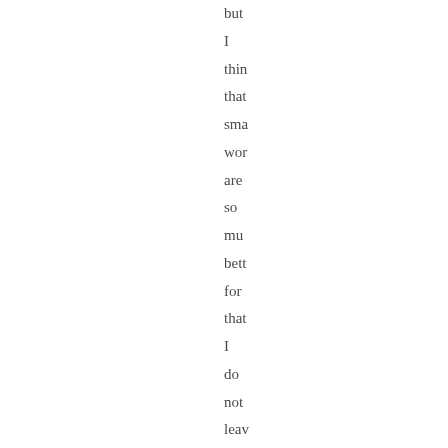but I thin that sma wor are so mu bett for tha I do not lea Can ofte the day and wh I do